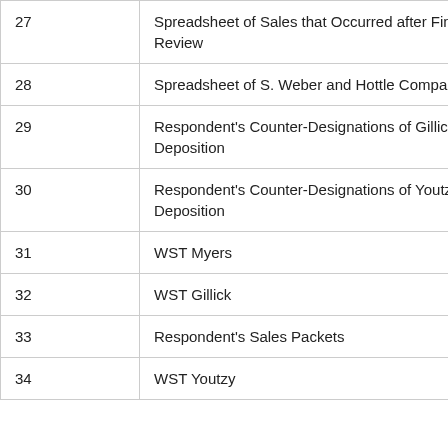| 27 | Spreadsheet of Sales that Occurred after Final Review |
| 28 | Spreadsheet of S. Weber and Hottle Comparables |
| 29 | Respondent's Counter-Designations of Gillick Deposition |
| 30 | Respondent's Counter-Designations of Youtzy Deposition |
| 31 | WST Myers |
| 32 | WST Gillick |
| 33 | Respondent's Sales Packets |
| 34 | WST Youtzy |